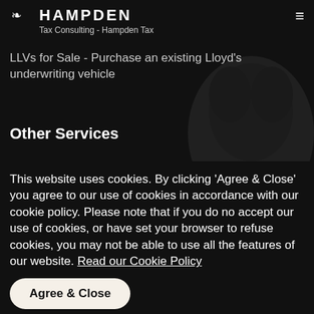HAMPDEN
Tax Consulting - Hampden Tax
LLVs for Sale - Purchase an existing Lloyd's underwriting vehicle
Other Services
Insurance Run-Off Management
Accounting Services - Seymour Taylor
This website uses cookies. By clicking 'Agree & Close' you agree to our use of cookies in accordance with our cookie policy. Please note that if you do no accept our use of cookies, or have set your browser to refuse cookies, you may not be able to use all the features of our website. Read our Cookie Policy
Agree & Close